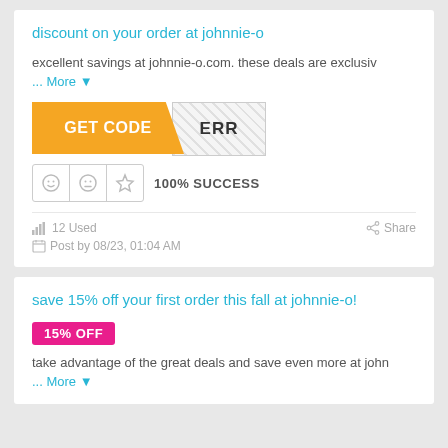discount on your order at johnnie-o
excellent savings at johnnie-o.com. these deals are exclusiv
... More
[Figure (other): GET CODE button with orange background and diagonal stripe section showing 'ERR']
100% SUCCESS
12 Used
Share
Post by 08/23, 01:04 AM
save 15% off your first order this fall at johnnie-o!
15% OFF
take advantage of the great deals and save even more at john
... More